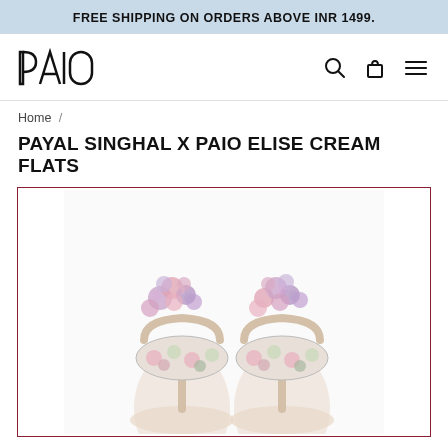FREE SHIPPING ON ORDERS ABOVE INR 1499.
[Figure (logo): PAIO brand logo in geometric style with search, cart, and menu icons]
Home /
PAYAL SINGHAL X PAIO ELISE CREAM FLATS
[Figure (photo): Top-down view of two cream flat sandals with floral fabric straps and colorful pom-pom embellishments in pink and purple]